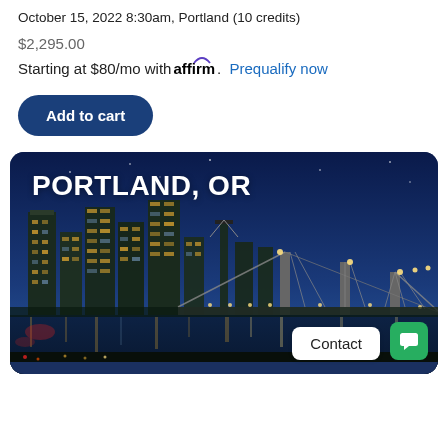October 15, 2022 8:30am, Portland (10 credits)
$2,295.00
Starting at $80/mo with affirm. Prequalify now
Add to cart
[Figure (photo): Portland, OR city skyline at night with bridge and river reflections, displayed in a rounded-corner card with 'PORTLAND, OR' text overlay and Contact/chat buttons]